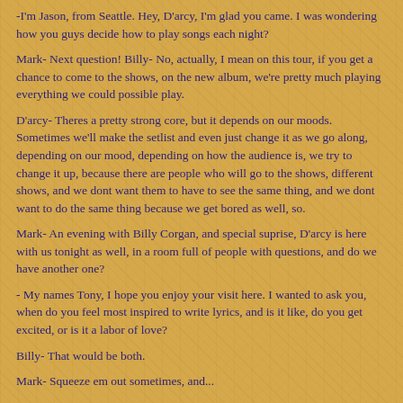-I'm Jason, from Seattle. Hey, D'arcy, I'm glad you came. I was wondering how you guys decide how to play songs each night?
Mark- Next question! Billy- No, actually, I mean on this tour, if you get a chance to come to the shows, on the new album, we're pretty much playing everything we could possible play.
D'arcy- Theres a pretty strong core, but it depends on our moods. Sometimes we'll make the setlist and even just change it as we go along, depending on our mood, depending on how the audience is, we try to change it up, because there are people who will go to the shows, different shows, and we dont want them to have to see the same thing, and we dont want to do the same thing because we get bored as well, so.
Mark- An evening with Billy Corgan, and special suprise, D'arcy is here with us tonight as well, in a room full of people with questions, and do we have another one?
- My names Tony, I hope you enjoy your visit here. I wanted to ask you, when do you feel most inspired to write lyrics, and is it like, do you get excited, or is it a labor of love?
Billy- That would be both.
Mark- Squeeze em out sometimes, and...